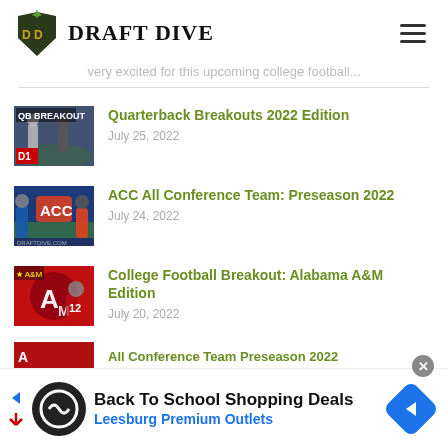Draft Dive
very excited for this upcoming college football...
[Figure (photo): QB Breakouts thumbnail - football players collage]
Quarterback Breakouts 2022 Edition
July 25, 2022
[Figure (photo): ACC All Conference Team thumbnail - football players with ACC logo]
ACC All Conference Team: Preseason 2022
July 24, 2022
[Figure (photo): Alabama A&M football player thumbnail]
College Football Breakout: Alabama A&M Edition
July 20, 2022
Back To School Shopping Deals
Leesburg Premium Outlets